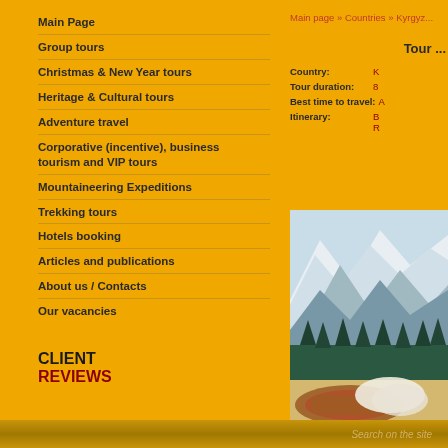Main Page
Group tours
Christmas & New Year tours
Heritage & Cultural tours
Adventure travel
Corporative (incentive), business tourism and VIP tours
Mountaineering Expeditions
Trekking tours
Hotels booking
Articles and publications
About us / Contacts
Our vacancies
CLIENT
REVIEWS
Main page » Countries » Kyrgyz...
Tour ...
| Field | Value |
| --- | --- |
| Country: | K... |
| Tour duration: | 8... |
| Best time to travel: | A... |
| Itinerary: | B...
R... |
[Figure (photo): Mountain landscape with snow-capped peaks, conifer forest, and a traditional decorative carpet/textile in the foreground]
Search on the site